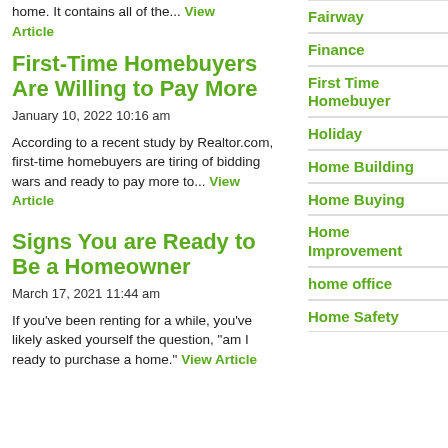home. It contains all of the... View Article
First-Time Homebuyers Are Willing to Pay More
January 10, 2022 10:16 am
According to a recent study by Realtor.com, first-time homebuyers are tiring of bidding wars and ready to pay more to... View Article
Signs You are Ready to Be a Homeowner
March 17, 2021 11:44 am
If you’ve been renting for a while, you’ve likely asked yourself the question, “am I ready to purchase a home.” View Article
Fairway
Finance
First Time Homebuyer
Holiday
Home Building
Home Buying
Home Improvement
home office
Home Safety